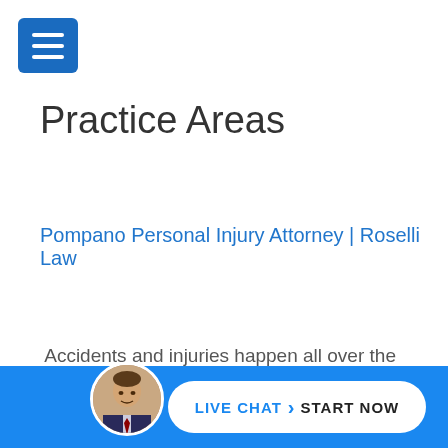[Figure (other): Blue hamburger menu button with three white horizontal lines]
Practice Areas
Pompano Personal Injury Attorney | Roselli Law
Accidents and injuries happen all over the place. Our staff and personal injury attorneys are ready to help you get the compensation you deserve and guard your rights and your claims if you or a loved one live in Pompano, Florida or were involved in an accident at this location.
The Florida law firm of Roselli & Associates is proud to
[Figure (photo): Circular avatar photo of a man in a suit, displayed in the blue bottom bar]
LIVE CHAT  START NOW